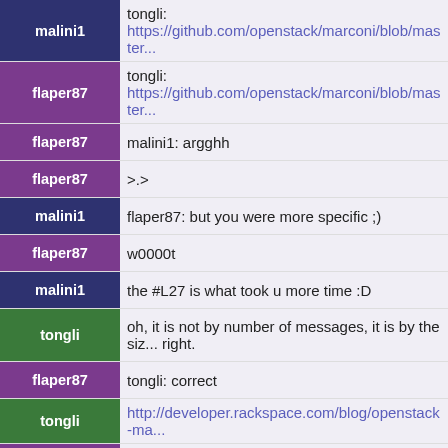malini1 | tongli: https://github.com/openstack/marconi/blob/master...
flaper87 | tongli: https://github.com/openstack/marconi/blob/master...
flaper87 | malini1: argghh
flaper87 | >.>
malini1 | flaper87: but you were more specific ;)
flaper87 | w0000t
malini1 | the #L27 is what took u more time :D
tongli | oh, it is not by number of messages, it is by the size right.
flaper87 | tongli: correct
tongli | http://developer.rackspace.com/blog/openstack-ma...
flaper87 | it doesn't matter if you've 1 message of 256kb or 1...
tongli | that docs indicated it is controlled by number of m... thing as message body.
flaper87 | tongli: that's old ;)
tongli | ah, ok.
flaper87 | tongli: we're working on a proper documentation
flaper87 | tongli: http://docs.openstack.org/developer/marcon...
tongli | cool, thanks for these excellent answers.
flaper87 | WIP